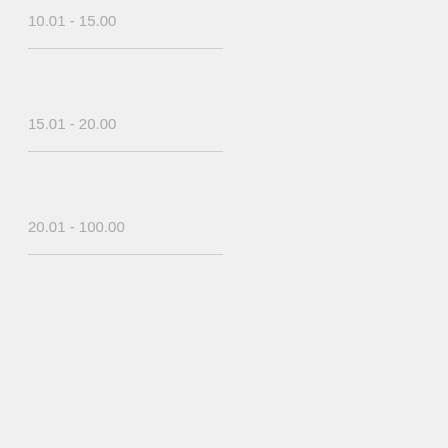10.01 - 15.00
15.01 - 20.00
20.01 - 100.00